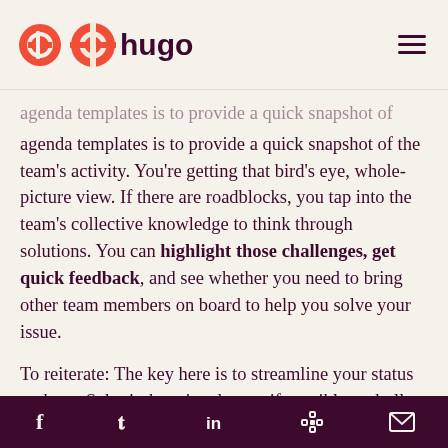hugo
agenda templates is to provide a quick snapshot of the team's activity. You're getting that bird's eye, whole-picture view. If there are roadblocks, you tap into the team's collective knowledge to think through solutions. You can highlight those challenges, get quick feedback, and see whether you need to bring other team members on board to help you solve your issue.
To reiterate: The key here is to streamline your status updates. Submit them in advance if possible, as bullet points in the agenda. Don't linger too long here.
f  t  in  Slack  mail